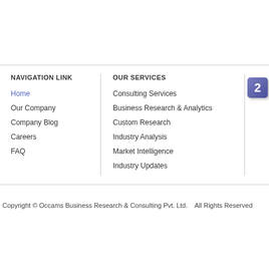NAVIGATION LINK
Home
Our Company
Company Blog
Careers
FAQ
OUR SERVICES
Consulting Services
Business Research & Analytics
Custom Research
Industry Analysis
Market Intelligence
Industry Updates
Copyright © Occams Business Research & Consulting Pvt. Ltd.    All Rights Reserved